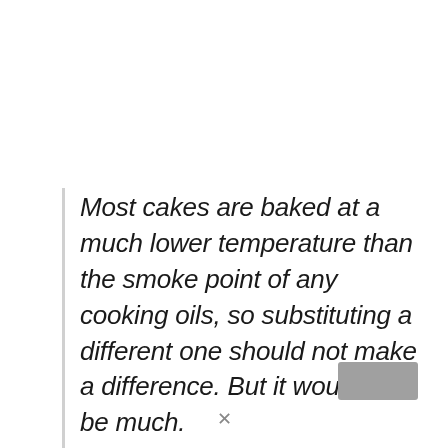Most cakes are baked at a much lower temperature than the smoke point of any cooking oils, so substituting a different one should not make a difference. But it would not be much.